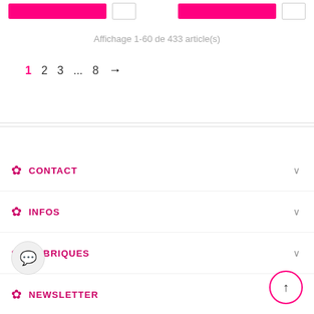Affichage 1-60 de 433 article(s)
1  2  3  ...  8  →
CONTACT
INFOS
RUBRIQUES
NEWSLETTER